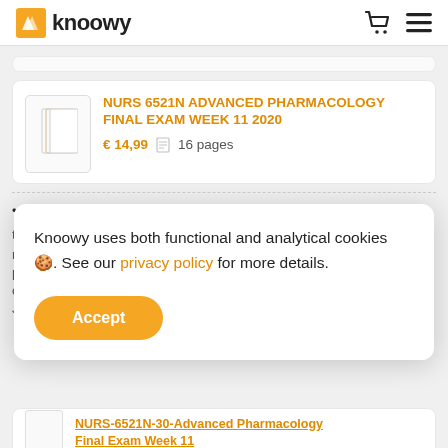knoowy
NURS 6521N ADVANCED PHARMACOLOGY FINAL EXAM WEEK 11 2020
€ 14,99  16 pages
Question 1 JC is a 13 year old female to be seen in your clinic
Knoowy uses both functional and analytical cookies 🍪. See our privacy policy for more details.
Accept
NURS-6521N-30-Advanced Pharmacology Final Exam Week 11